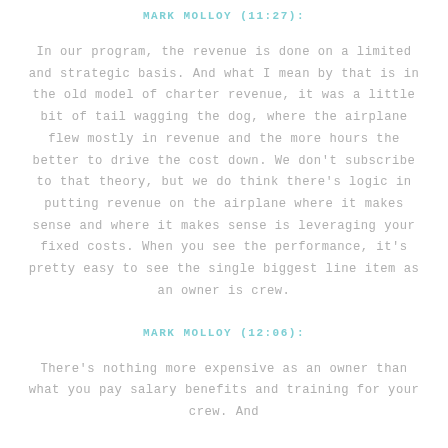MARK MOLLOY (11:27):
In our program, the revenue is done on a limited and strategic basis. And what I mean by that is in the old model of charter revenue, it was a little bit of tail wagging the dog, where the airplane flew mostly in revenue and the more hours the better to drive the cost down. We don't subscribe to that theory, but we do think there's logic in putting revenue on the airplane where it makes sense and where it makes sense is leveraging your fixed costs. When you see the performance, it's pretty easy to see the single biggest line item as an owner is crew.
MARK MOLLOY (12:06):
There's nothing more expensive as an owner than what you pay salary benefits and training for your crew. And